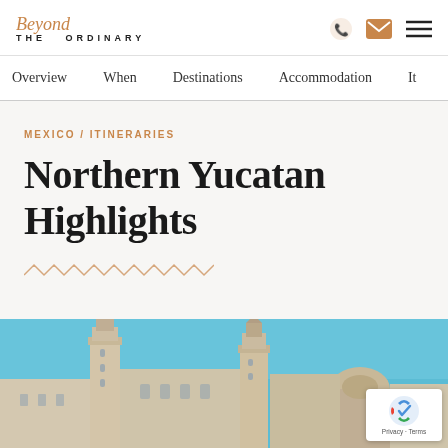Beyond THE ORDINARY — logo with phone, email, menu icons
Overview   When   Destinations   Accommodation   It
MEXICO / ITINERARIES
Northern Yucatan Highlights
[Figure (photo): Photo of historic church towers and colonial buildings in a Mexican city (likely Campeche or Mérida) against a bright blue sky, showing ornate baroque architecture with two bell towers and dome.]